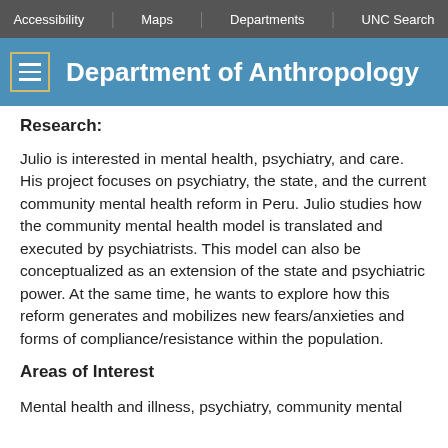Accessibility | Maps | Departments | UNC Search
Department of Anthropology
Research:
Julio is interested in mental health, psychiatry, and care. His project focuses on psychiatry, the state, and the current community mental health reform in Peru. Julio studies how the community mental health model is translated and executed by psychiatrists. This model can also be conceptualized as an extension of the state and psychiatric power. At the same time, he wants to explore how this reform generates and mobilizes new fears/anxieties and forms of compliance/resistance within the population.
Areas of Interest
Mental health and illness, psychiatry, community mental